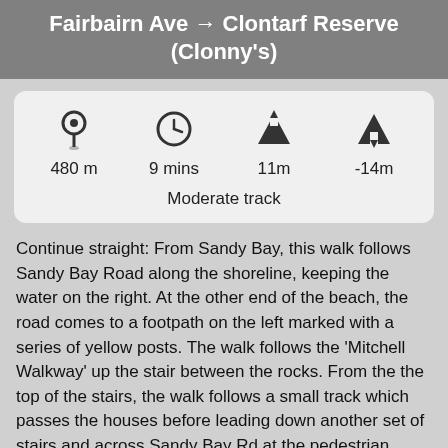Fairbairn Ave → Clontarf Reserve (Clonny's)
[Figure (infographic): Info card showing route stats: distance 480m, time 9 mins, elevation up 11m, elevation down -14m, difficulty Moderate track]
Continue straight: From Sandy Bay, this walk follows Sandy Bay Road along the shoreline, keeping the water on the right. At the other end of the beach, the road comes to a footpath on the left marked with a series of yellow posts. The walk follows the 'Mitchell Walkway' up the stair between the rocks. From the the top of the stairs, the walk follows a small track which passes the houses before leading down another set of stairs and across Sandy Bay Rd at the pedestrian crossing, to the Clontarf Marina. Turn left: From Clontarf Marina, this walk follows the